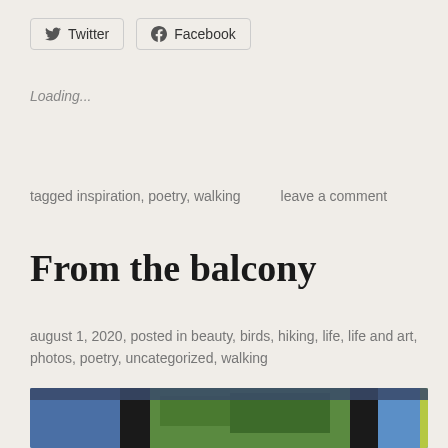[Figure (other): Twitter and Facebook share buttons with icons]
Loading...
tagged inspiration, poetry, walking     leave a comment
From the balcony
august 1, 2020, posted in beauty, birds, hiking, life, life and art, photos, poetry, uncategorized, walking
[Figure (photo): A blue jay bird seen through balcony railing slats, with green grass and foliage in the background]